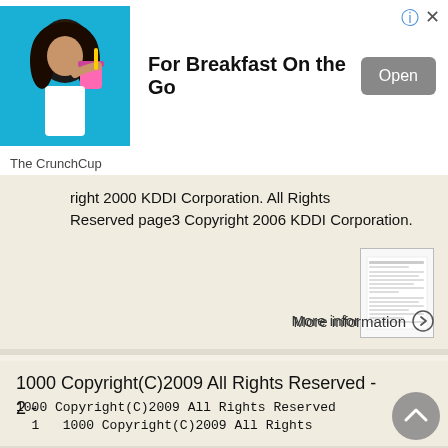[Figure (screenshot): Advertisement banner for The CrunchCup showing a woman drinking from a pink cup on a blue background, with text 'For Breakfast On the Go' and an 'Open' button]
right 2000 KDDI Corporation. All Rights Reserved page3 Copyright 2006 KDDI Corporation.
More information →
[Figure (screenshot): Document thumbnail image showing a page with text content]
More information →
1000 Copyright(C)2009 All Rights Reserved - 2 -
1000 Copyright(C)2009 All Rights Reserved - 1 - 1000 Copyright(C)2009 All Rights Reserved - All Rights